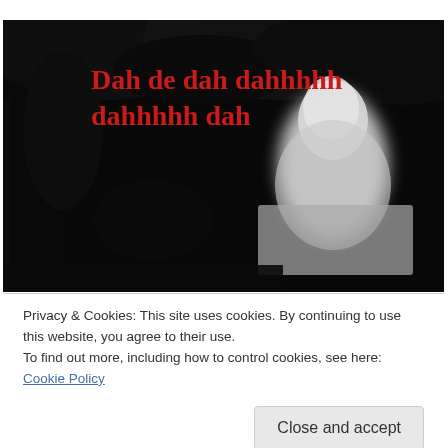[Figure (photo): Dark night-vision style photograph showing a pale, blurry ghost-like figure or statue against a black background with dark foliage. Red bold text overlaid reads 'Dah de dah dahhhhh dahhhhh dah'.]
Privacy & Cookies: This site uses cookies. By continuing to use this website, you agree to their use.
To find out more, including how to control cookies, see here: Cookie Policy
Close and accept